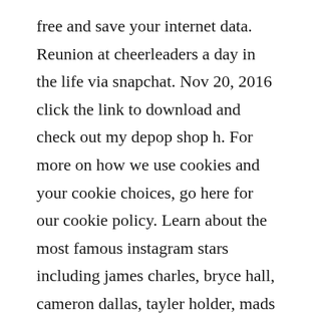free and save your internet data. Reunion at cheerleaders a day in the life via snapchat. Nov 20, 2016 click the link to download and check out my depop shop h. For more on how we use cookies and your cookie choices, go here for our cookie policy. Learn about the most famous instagram stars including james charles, bryce hall, cameron dallas, tayler holder, mads lewis and many more. Just take a quick snapshot, add a few stickers or a message and choose how long you want. Download snapchat for ios and android, and start snapping with friends today. Express